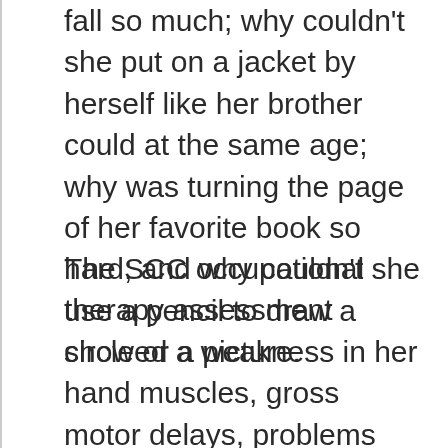fall so much; why couldn't she put on a jacket by herself like her brother could at the same age; why was turning the page of her favorite book so hard; and why couldn't she use a pencil to draw a circle or a picture.
The SCC occupational therapy assessment showed a weakness in her hand muscles, gross motor delays, problems with balance and walking, and eye-hand coordination. Fatima did not have a dominate hand and struggled with visual perception tests. She found it hard to concentrate and often became